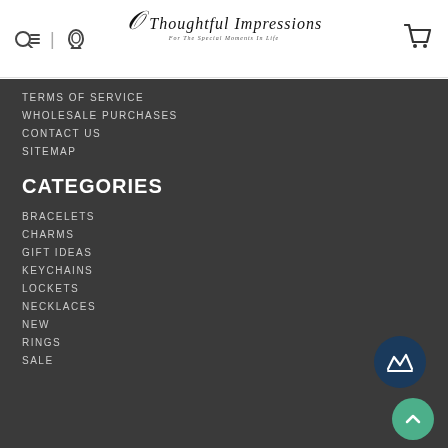[Figure (logo): Thoughtful Impressions logo with script flourish and tagline 'For The Special Moments In Life']
TERMS OF SERVICE
WHOLESALE PURCHASES
CONTACT US
SITEMAP
CATEGORIES
BRACELETS
CHARMS
GIFT IDEAS
KEYCHAINS
LOCKETS
NECKLACES
NEW
RINGS
SALE